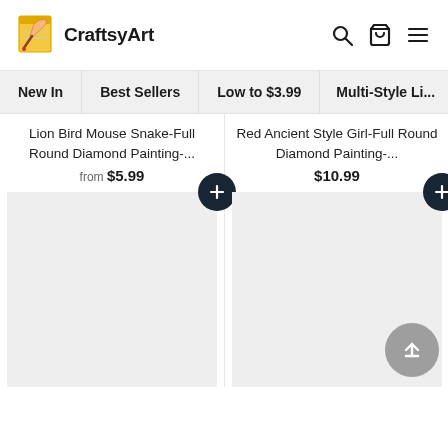[Figure (logo): CraftsyArt logo with hand holding paintbrush icon and text 'CraftsyArt']
CraftsyArt — Search, Cart, Menu icons
New In
Best Sellers
Low to $3.99
Multi-Style Li...
Lion Bird Mouse Snake-Full Round Diamond Painting-...
from $5.99
Red Ancient Style Girl-Full Round Diamond Painting-...
$10.99
[Figure (photo): Product image placeholder (gray) for Lion Bird Mouse Snake diamond painting]
[Figure (photo): Product image placeholder (gray) for Red Ancient Style Girl diamond painting]